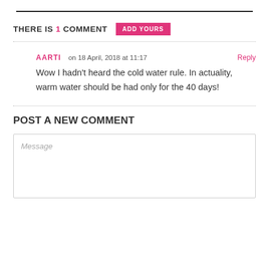THERE IS 1 COMMENT  ADD YOURS
AARTI on 18 April, 2018 at 11:17  Reply
Wow I hadn't heard the cold water rule. In actuality, warm water should be had only for the 40 days!
POST A NEW COMMENT
Message